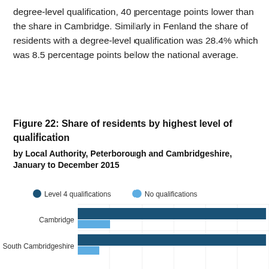degree-level qualification, 40 percentage points lower than the share in Cambridge. Similarly in Fenland the share of residents with a degree-level qualification was 28.4% which was 8.5 percentage points below the national average.
Figure 22: Share of residents by highest level of qualification by Local Authority, Peterborough and Cambridgeshire, January to December 2015
[Figure (grouped-bar-chart): Figure 22: Share of residents by highest level of qualification]